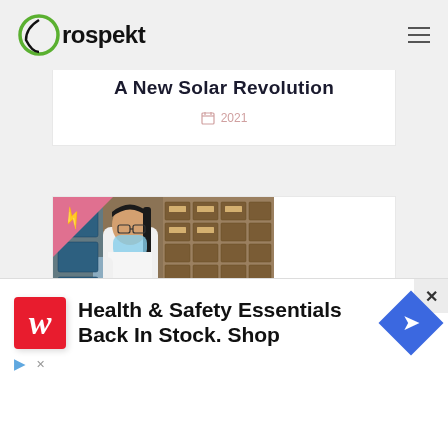Prospekt
A New Solar Revolution
2021
[Figure (photo): A woman wearing a face mask and glasses, dressed in a white lab coat, working in what appears to be a pharmacy or traditional medicine dispensary with rows of small drawers/containers in the background. A pink/red lightning bolt badge appears in the top-left corner of the image.]
Boost Your Brain Enjoyment and
Health & Safety Essentials Back In Stock. Shop